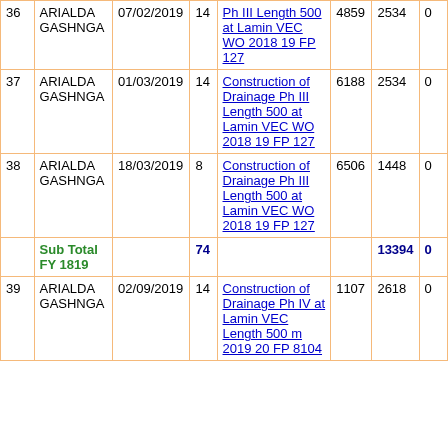| # | Name | Date | Qty | Description | Col6 | Col7 | Col8 |
| --- | --- | --- | --- | --- | --- | --- | --- |
| 36 | ARIALDA GASHNGA | 07/02/2019 | 14 | Ph III Length 500 at Lamin VEC WO 2018 19 FP 127 | 4859 | 2534 | 0 |
| 37 | ARIALDA GASHNGA | 01/03/2019 | 14 | Construction of Drainage Ph III Length 500 at Lamin VEC WO 2018 19 FP 127 | 6188 | 2534 | 0 |
| 38 | ARIALDA GASHNGA | 18/03/2019 | 8 | Construction of Drainage Ph III Length 500 at Lamin VEC WO 2018 19 FP 127 | 6506 | 1448 | 0 |
|  | Sub Total FY 1819 |  | 74 |  |  | 13394 | 0 |
| 39 | ARIALDA GASHNGA | 02/09/2019 | 14 | Construction of Drainage Ph IV at Lamin VEC Length 500 m 2019 20 FP 8104 | 1107 | 2618 | 0 |